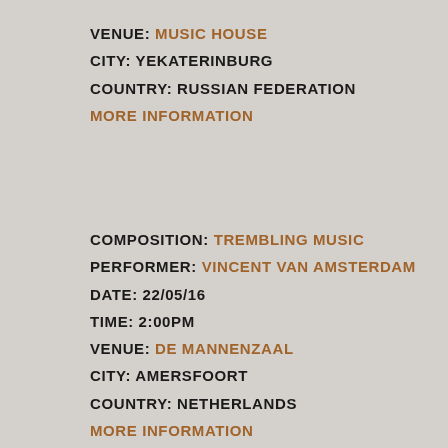VENUE: MUSIC HOUSE
CITY: YEKATERINBURG
COUNTRY: RUSSIAN FEDERATION
MORE INFORMATION
COMPOSITION: TREMBLING MUSIC
PERFORMER: VINCENT VAN AMSTERDAM
DATE: 22/05/16
TIME: 2:00PM
VENUE: DE MANNENZAAL
CITY: AMERSFOORT
COUNTRY: NETHERLANDS
MORE INFORMATION